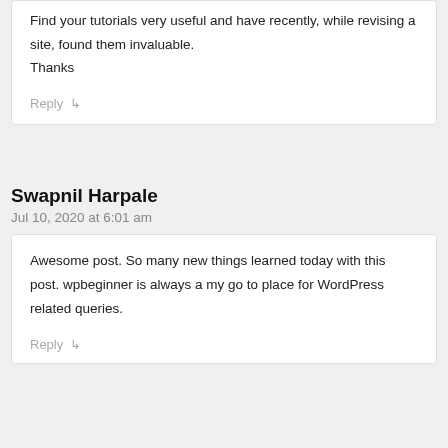Find your tutorials very useful and have recently, while revising a site, found them invaluable.
Thanks
Reply
Swapnil Harpale
Jul 10, 2020 at 6:01 am
Awesome post. So many new things learned today with this post. wpbeginner is always a my go to place for WordPress related queries.
Reply